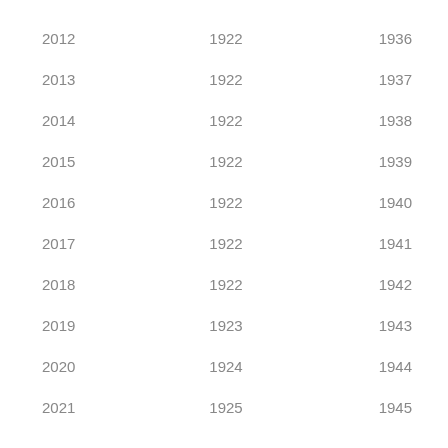| 2012 | 1922 | 1936 |
| 2013 | 1922 | 1937 |
| 2014 | 1922 | 1938 |
| 2015 | 1922 | 1939 |
| 2016 | 1922 | 1940 |
| 2017 | 1922 | 1941 |
| 2018 | 1922 | 1942 |
| 2019 | 1923 | 1943 |
| 2020 | 1924 | 1944 |
| 2021 | 1925 | 1945 |